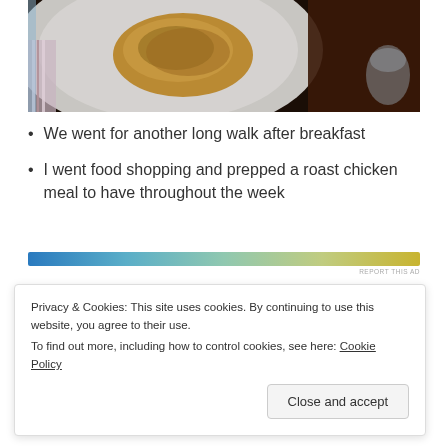[Figure (photo): Close-up photo of food (appears to be a baked or roasted item) on a white plate, with a dark background and a glass visible at the right edge.]
We went for another long walk after breakfast
I went food shopping and prepped a roast chicken meal to have throughout the week
[Figure (infographic): Horizontal gradient advertisement bar ranging from blue on the left to yellow/gold on the right, with 'REPORT THIS AD' label in small text below right.]
Privacy & Cookies: This site uses cookies. By continuing to use this website, you agree to their use. To find out more, including how to control cookies, see here: Cookie Policy
Close and accept